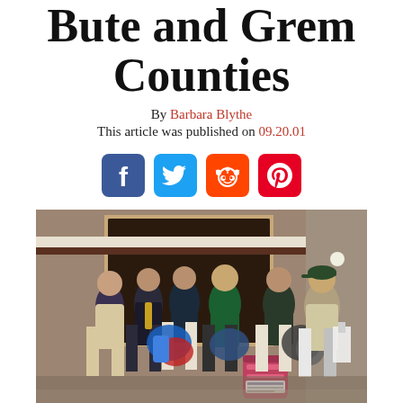Bute and Grem Counties
By Barbara Blythe
This article was published on 09.20.01
[Figure (infographic): Social media share icons: Facebook, Twitter, Reddit, Pinterest]
[Figure (photo): Group of approximately 6-7 people standing in front of a store entrance, holding coats and clothing items, with a donation barrel in front of them.]